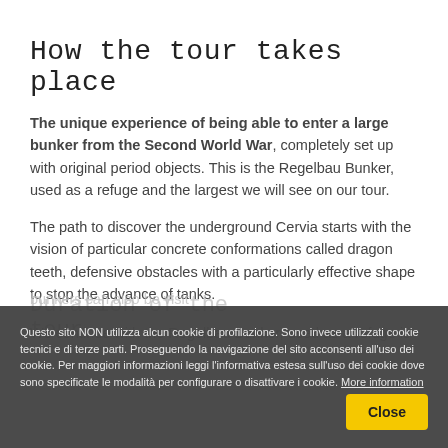How the tour takes place
The unique experience of being able to enter a large bunker from the Second World War, completely set up with original period objects. This is the Regelbau Bunker, used as a refuge and the largest we will see on our tour.
The path to discover the underground Cervia starts with the vision of particular concrete conformations called dragon teeth, defensive obstacles with a particularly effective shape to stop the advance of tanks.
We continue with the Regelbau Bunker, used as a refuge is
Duration of the tour
Questo sito NON utilizza alcun cookie di profilazione. Sono invece utilizzati cookie tecnici e di terze parti. Proseguendo la navigazione del sito acconsenti all'uso dei cookie. Per maggiori informazioni leggi l'informativa estesa sull'uso dei cookie dove sono specificate le modalità per configurare o disattivare i cookie. More information